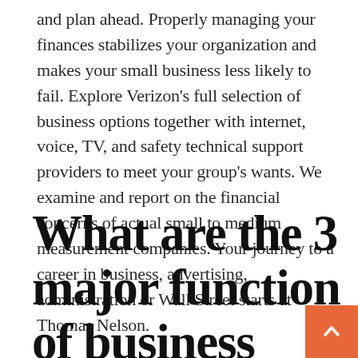and plan ahead. Properly managing your finances stabilizes your organization and makes your small business less likely to fail. Explore Verizon's full selection of business options together with internet, voice, TV, and safety technical support providers to meet your group's wants. We examine and report on the financial concerns of actual small to medium measurement companies. Your journey to a career in business, advertising, administration or Wall Street starts at Thomas Nelson.
What are the 3 major function of business finance?